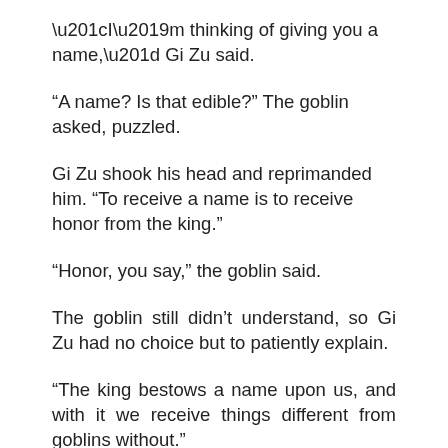“I’m thinking of giving you a name,” Gi Zu said.
“A name? Is that edible?” The goblin asked, puzzled.
Gi Zu shook his head and reprimanded him. “To receive a name is to receive honor from the king.”
“Honor, you say,” the goblin said.
The goblin still didn’t understand, so Gi Zu had no choice but to patiently explain.
“The king bestows a name upon us, and with it we receive things different from goblins without.”
Gi Zu was not good at explaining. But that was a given, after all, he had always been the type to prefer action over words.